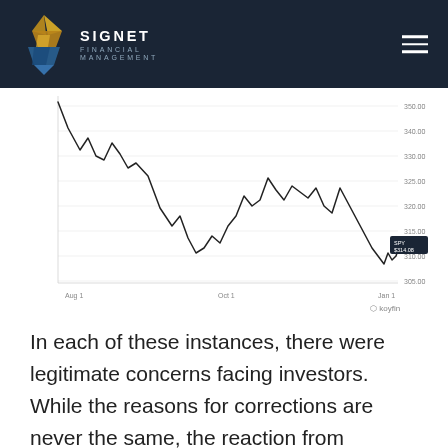SIGNET FINANCIAL MANAGEMENT
[Figure (continuous-plot): Line chart showing a stock/index price over time, with a sharp decline from the left, a partial recovery with peaks and troughs in the middle, then a final sharp decline toward the right. A tooltip shows 'SPY $314.08'. Y-axis labels: 350.00, 340.00, 330.00, 325.00, 320.00, 315.00, 310.00, 305.00. X-axis labels: Aug 1, Oct 1, Jan 1(?). Koyfin watermark at bottom right.]
In each of these instances, there were legitimate concerns facing investors. While the reasons for corrections are never the same, the reaction from investors is often very similar. Greed